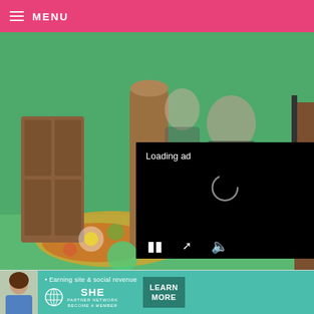MENU
[Figure (photo): A smiling woman with red hair in a kitchen, wearing a white cardigan and dark top, with children in the background at a table. The kitchen has colorful elements and a green background area.]
[Figure (screenshot): Video ad overlay with black background showing 'Loading ad' text, a spinner/loading icon, pause button, expand button, and mute button controls at the bottom.]
That’s right. One for me and one for you. Well, on
[Figure (infographic): Advertisement banner for SHE Media Partner Network with text: Earning site & social revenue. SHE PARTNER NETWORK BECOME A MEMBER. LEARN MORE button.]